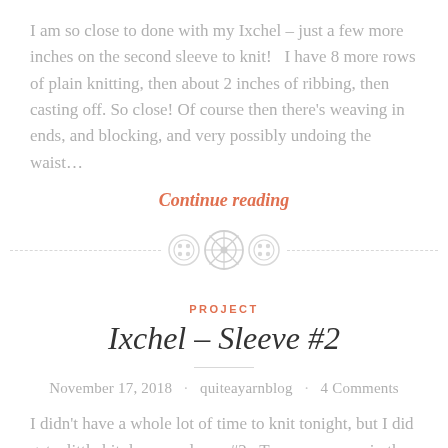I am so close to done with my Ixchel – just a few more inches on the second sleeve to knit!   I have 8 more rows of plain knitting, then about 2 inches of ribbing, then casting off. So close! Of course then there's weaving in ends, and blocking, and very possibly undoing the waist…
Continue reading
[Figure (other): Decorative divider with three button icons and dashed lines on each side]
PROJECT
Ixchel – Sleeve #2
November 17, 2018 · quiteayarnblog · 4 Comments
I didn't have a whole lot of time to knit tonight, but I did get a little bit done on sleeve #2.  Two more rows in the